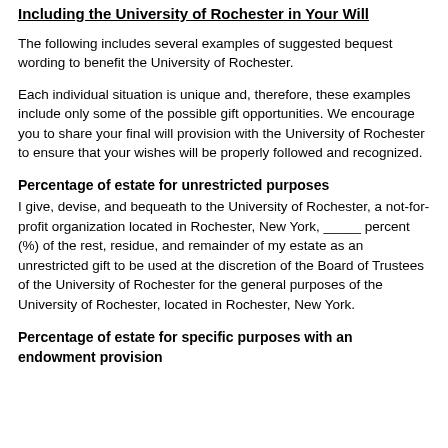Including the University of Rochester in Your Will
The following includes several examples of suggested bequest wording to benefit the University of Rochester.
Each individual situation is unique and, therefore, these examples include only some of the possible gift opportunities. We encourage you to share your final will provision with the University of Rochester to ensure that your wishes will be properly followed and recognized.
Percentage of estate for unrestricted purposes
I give, devise, and bequeath to the University of Rochester, a not-for-profit organization located in Rochester, New York, _____ percent (%) of the rest, residue, and remainder of my estate as an unrestricted gift to be used at the discretion of the Board of Trustees of the University of Rochester for the general purposes of the University of Rochester, located in Rochester, New York.
Percentage of estate for specific purposes with an endowment provision